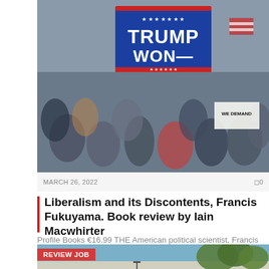[Figure (photo): Crowd of protesters at a political rally, with a prominent blue flag reading 'TRUMP WON' with stars, and various people holding signs including one reading 'WE DEMAND'.]
MARCH 26, 2022  □0
Liberalism and its Discontents, Francis Fukuyama. Book review by Iain Macwhirter
Profile Books €16.99 THE American political scientist, Francis Fukuyama, has made a career out of…
[Figure (photo): Partial view of a building exterior with trees against a blue sky, with a red 'REVIEW JOB' badge overlay.]